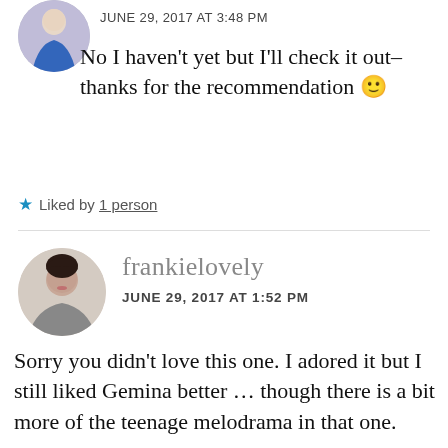JUNE 29, 2017 AT 3:48 PM
No I haven't yet but I'll check it out–thanks for the recommendation 🙂
★ Liked by 1 person
frankielovely
JUNE 29, 2017 AT 1:52 PM
Sorry you didn't love this one. I adored it but I still liked Gemina better… though there is a bit more of the teenage melodrama in that one.